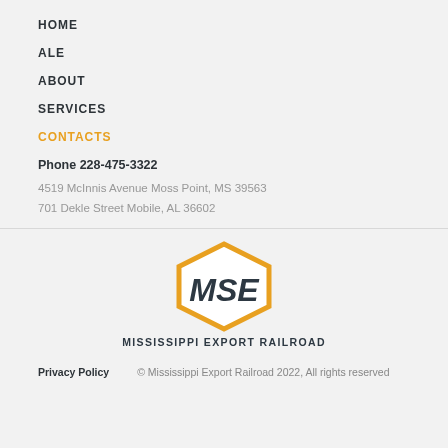HOME
ALE
ABOUT
SERVICES
CONTACTS
Phone 228-475-3322
4519 McInnis Avenue Moss Point, MS 39563
701 Dekle Street Mobile, AL 36602
[Figure (logo): MSE hexagon logo for Mississippi Export Railroad — gold/amber hexagon outline with bold italic 'MSE' text inside]
MISSISSIPPI EXPORT RAILROAD
Privacy Policy   © Mississippi Export Railroad 2022, All rights reserved